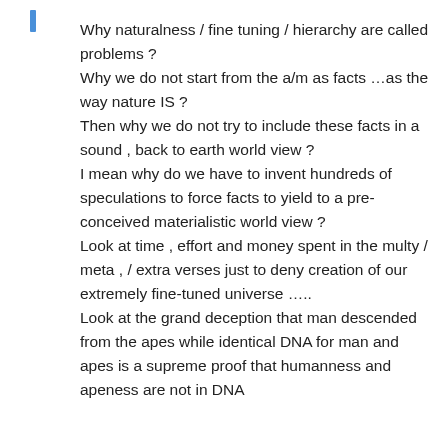Why naturalness / fine tuning / hierarchy are called problems ? Why we do not start from the a/m as facts …as the way nature IS ? Then why we do not try to include these facts in a sound , back to earth world view ? I mean why do we have to invent hundreds of speculations to force facts to yield to a pre-conceived materialistic world view ? Look at time , effort and money spent in the multy / meta , / extra verses just to deny creation of our extremely fine-tuned universe ….. Look at the grand deception that man descended from the apes while identical DNA for man and apes is a supreme proof that humanness and apeness are not in DNA